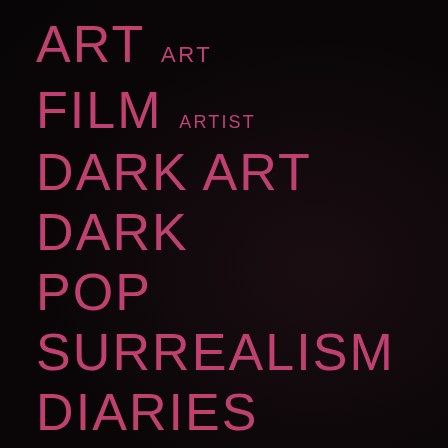ART ART
FILM ARTIST
DARK ART
DARK
POP
SURREALISM
DIARIES
WRITINGS
DOLL
DRAWINGS